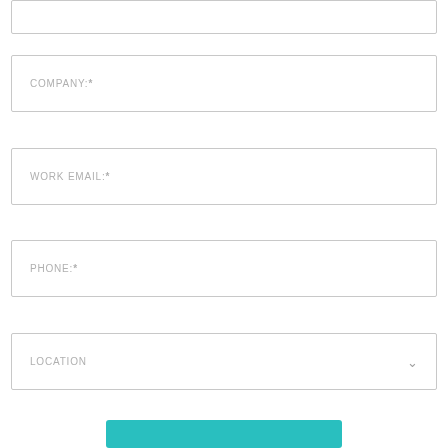[Figure (screenshot): A web form with input fields for COMPANY:*, WORK EMAIL:*, PHONE:*, and a LOCATION dropdown, plus a teal submit button at the bottom.]
COMPANY:*
WORK EMAIL:*
PHONE:*
LOCATION